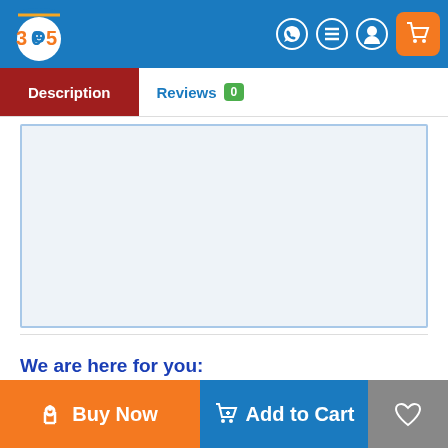[Figure (screenshot): E-commerce website header with logo '305', navigation icons (WhatsApp, menu, account, cart)]
Description | Reviews 0
[Figure (photo): Empty product image placeholder area with light blue border]
We are here for you:
Buy Now | Add to Cart | (wishlist heart)